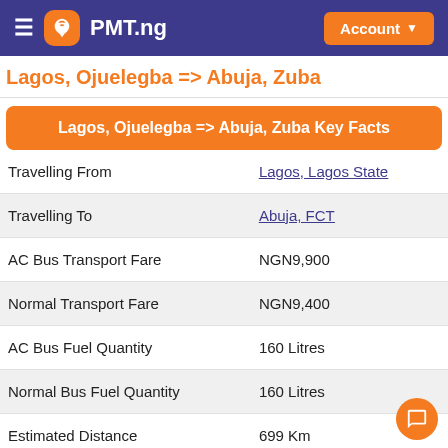PMT.ng — Account
Lagos, Ojuelegba => Abuja, Zuba
Lagos, Ojuelegba => Abuja, Zuba Key Facts
|  |  |
| --- | --- |
| Travelling From | Lagos, Lagos State |
| Travelling To | Abuja, FCT |
| AC Bus Transport Fare | NGN9,900 |
| Normal Transport Fare | NGN9,400 |
| AC Bus Fuel Quantity | 160 Litres |
| Normal Bus Fuel Quantity | 160 Litres |
| Estimated Distance | 699 Km |
| Estimated Duration | 721.18 minutes |